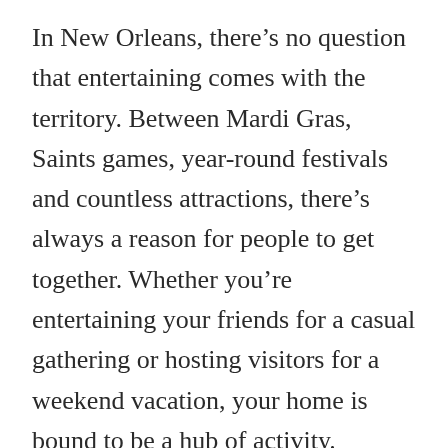In New Orleans, there’s no question that entertaining comes with the territory. Between Mardi Gras, Saints games, year-round festivals and countless attractions, there’s always a reason for people to get together. Whether you’re entertaining your friends for a casual gathering or hosting visitors for a weekend vacation, your home is bound to be a hub of activity. Another way of adding New Orleans flavor to your home is making it entertainment-ready.

“Our clients around the region love to entertain guests, “says Don Wise of Louisiana